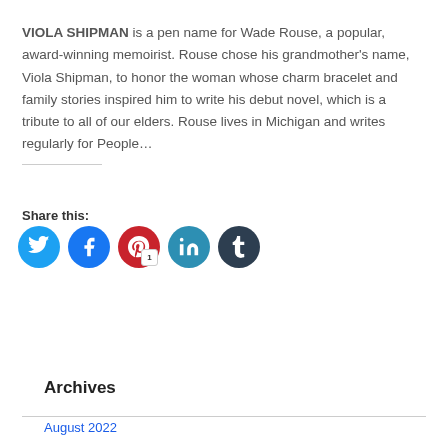VIOLA SHIPMAN is a pen name for Wade Rouse, a popular, award-winning memoirist. Rouse chose his grandmother’s name, Viola Shipman, to honor the woman whose charm bracelet and family stories inspired him to write his debut novel, which is a tribute to all of our elders. Rouse lives in Michigan and writes regularly for People…
Share this:
[Figure (infographic): Social media share buttons: Twitter (cyan), Facebook (blue), Pinterest (red, with badge '1'), LinkedIn (teal), Tumblr (dark navy)]
Read More
Archives
August 2022